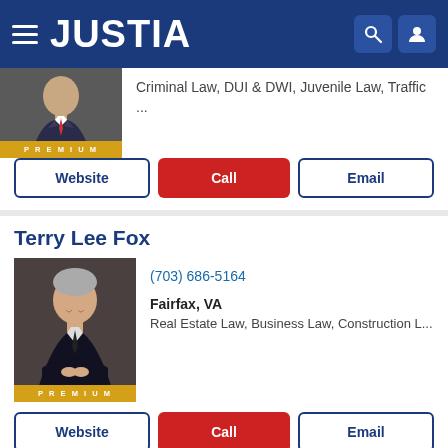JUSTIA
[Figure (photo): Partial view of a lawyer photo with PREMIUM badge, showing Criminal Law, DUI & DWI, Juvenile Law, Traffic ... practice areas]
Criminal Law, DUI & DWI, Juvenile Law, Traffic ...
Website | Call | Email
Terry Lee Fox
[Figure (photo): Professional headshot of Terry Lee Fox with PREMIUM badge]
(703) 686-5164
Fairfax, VA
Real Estate Law, Business Law, Construction L...
Website | Call | Email
John C. Cook
[Figure (photo): Professional headshot of John C. Cook]
(703) 865-7480